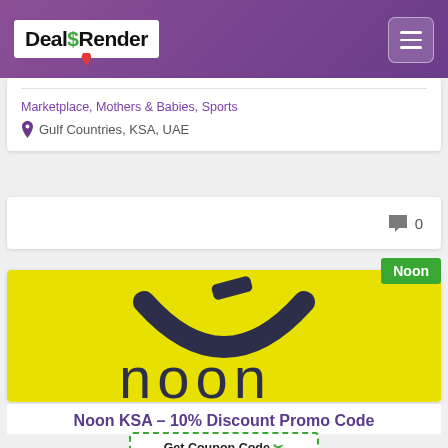DealSRender
Marketplace, Mothers & Babies, Sports
Gulf Countries, KSA, UAE
0
[Figure (logo): Noon brand logo on yellow background showing stylized smiley face with word 'noon' in dark blue lettering on bright yellow background]
Noon
Noon KSA – 10% Discount Promo Code
Get Coupon Code